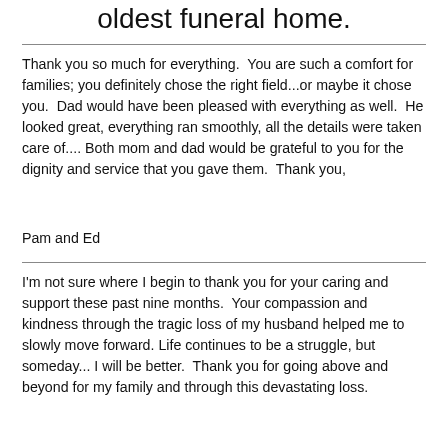oldest funeral home.
Thank you so much for everything.  You are such a comfort for families; you definitely chose the right field...or maybe it chose you.  Dad would have been pleased with everything as well.  He looked great, everything ran smoothly, all the details were taken care of.... Both mom and dad would be grateful to you for the dignity and service that you gave them.  Thank you,
Pam and Ed
I'm not sure where I begin to thank you for your caring and support these past nine months.  Your compassion and kindness through the tragic loss of my husband helped me to slowly move forward. Life continues to be a struggle, but someday... I will be better.  Thank you for going above and beyond for my family and through this devastating loss.